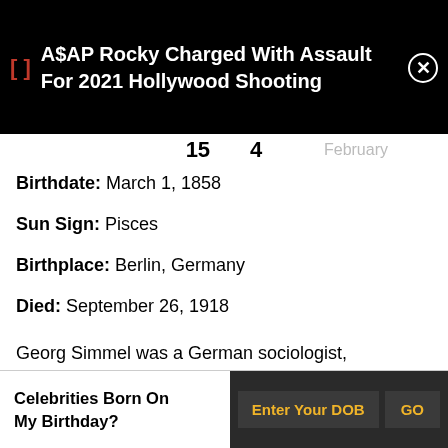[Figure (screenshot): Black notification banner showing: [] A$AP Rocky Charged With Assault For 2021 Hollywood Shooting with a close (X) button]
15   4
Birthdate: March 1, 1858
Sun Sign: Pisces
Birthplace: Berlin, Germany
Died: September 26, 1918
Georg Simmel was a German sociologist, philosopher, and critic considered a forerunner to structuralist styles of reasoning in the social sciences. He was neo-Kantian in his approach and
Celebrities Born On My Birthday? Enter Your DOB GO